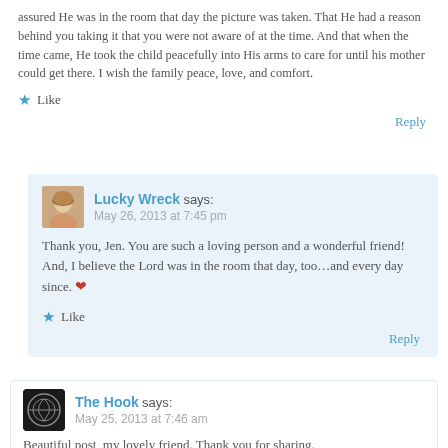assured He was in the room that day the picture was taken. That He had a reason behind you taking it that you were not aware of at the time. And that when the time came, He took the child peacefully into His arms to care for until his mother could get there. I wish the family peace, love, and comfort.
★ Like
Reply
Lucky Wreck says: May 26, 2013 at 7:45 pm
Thank you, Jen. You are such a loving person and a wonderful friend! And, I believe the Lord was in the room that day, too…and every day since. ❤
★ Like
Reply
The Hook says: May 25, 2013 at 7:46 am
Beautiful post, my lovely friend. Thank you for sharing.